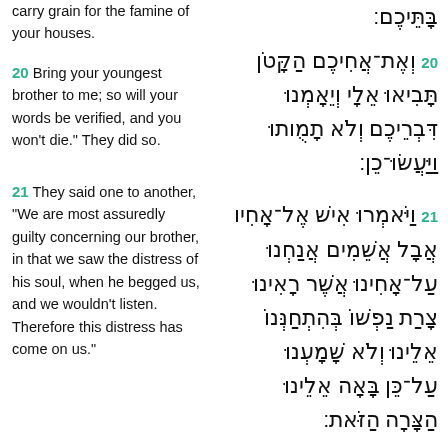carry grain for the famine of your houses.
20 Bring your youngest brother to me; so will your words be verified, and you won't die." They did so.
21 They said one to another, "We are most assuredly guilty concerning our brother, in that we saw the distress of his soul, when he begged us, and we wouldn't listen. Therefore this distress has come on us."
Hebrew text column with biblical Hebrew for verses relating to the English on the left.